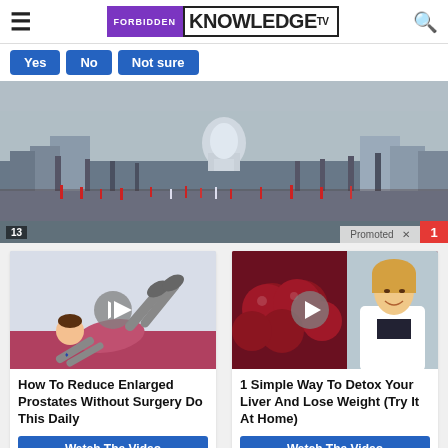FORBIDDEN KNOWLEDGE TV
Yes | No | Not sure
[Figure (photo): Aerial view of a large crowd marching down a wide avenue toward the US Capitol building, with American flags and banners, wintry bare trees lining both sides.]
[Figure (photo): Animated illustration of a person doing exercises/yoga pose, with a play button overlay. Advertisement for prostate health video.]
How To Reduce Enlarged Prostates Without Surgery Do This Daily
Watch The Video
[Figure (photo): Photo of dark red cherries/berries and a smiling woman in a white coat, with a play button overlay. Advertisement for liver detox video.]
1 Simple Way To Detox Your Liver And Lose Weight (Try It At Home)
Watch The Video